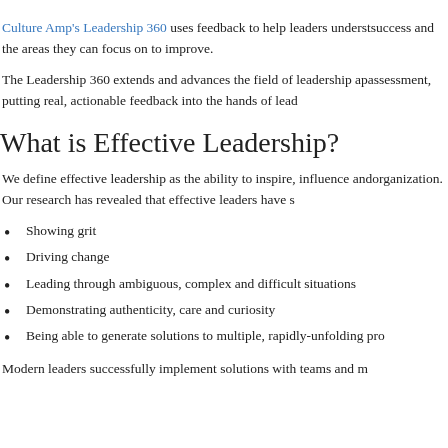Culture Amp's Leadership 360 uses feedback to help leaders understand the drivers of their success and the areas they can focus on to improve.
The Leadership 360 extends and advances the field of leadership ap... assessment, putting real, actionable feedback into the hands of lead...
What is Effective Leadership?
We define effective leadership as the ability to inspire, influence and ... organization. Our research has revealed that effective leaders have s...
Showing grit
Driving change
Leading through ambiguous, complex and difficult situations
Demonstrating authenticity, care and curiosity
Being able to generate solutions to multiple, rapidly-unfolding pro...
Modern leaders successfully implement solutions with teams and m...